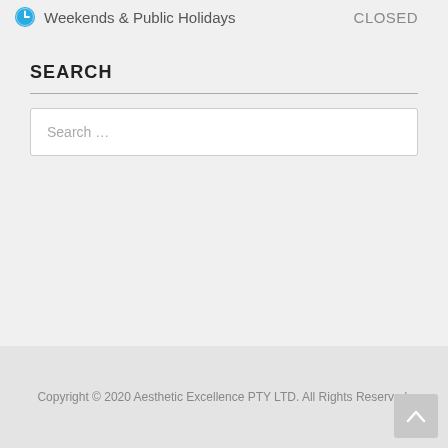Weekends & Public Holidays   CLOSED
SEARCH
Search …
Disclaimer & Privacy Policy
Copyright © 2020 Aesthetic Excellence PTY LTD. All Rights Reserved.